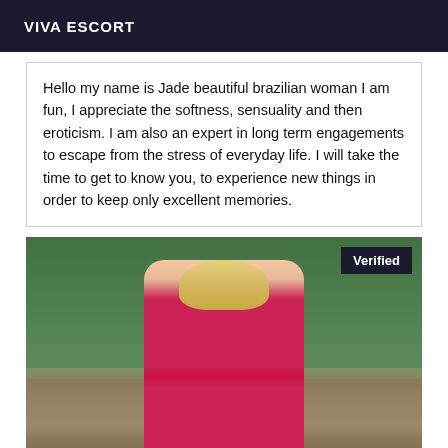VIVA ESCORT
Hello my name is Jade beautiful brazilian woman I am fun, I appreciate the softness, sensuality and then eroticism. I am also an expert in long term engagements to escape from the stress of everyday life. I will take the time to get to know you, to experience new things in order to keep only excellent memories.
[Figure (photo): Photo of a blonde woman in red lingerie outdoors in a wooded area, with a 'Verified' badge in the top right corner.]